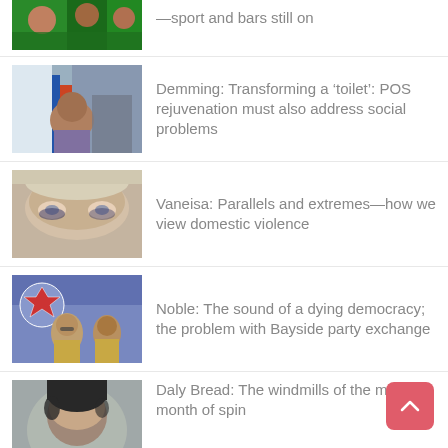[Figure (photo): Partial image of people in green shirts/jerseys at top of page]
—sport and bars still on
[Figure (photo): Street scene with a man smiling near a fence]
Demming: Transforming a ‘toilet’: POS rejuvenation must also address social problems
[Figure (photo): Close-up of an elderly woman's face showing bruised eyes]
Vaneisa: Parallels and extremes—how we view domestic violence
[Figure (photo): Two police officers in uniform in front of a blue banner with insignia]
Noble: The sound of a dying democracy; the problem with Bayside party exchange
[Figure (photo): Portrait of a person with dark hair]
Daly Bread: The windmills of the mind; a month of spin